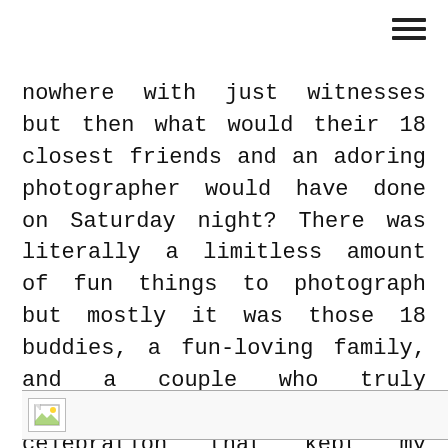nowhere with just witnesses but then what would their 18 closest friends and an adoring photographer would have done on Saturday night? There was literally a limitless amount of fun things to photograph but mostly it was those 18 buddies, a fun-loving family, and a couple who truly deserved such a great celebration that kept my trigger finger going all day. Enjoy the sampling!
[Figure (other): Broken image placeholder icon at the bottom of the page]